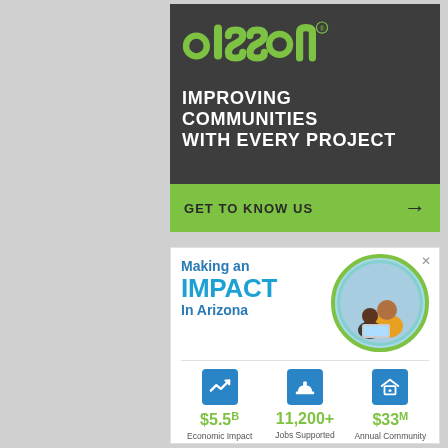[Figure (infographic): Olsson engineering/consulting firm advertisement. Dark gray background with green Olsson logo, white text 'IMPROVING COMMUNITIES WITH EVERY PROJECT', and green call-to-action bar 'GET TO KNOW US' with arrow.]
[Figure (infographic): Arizona impact infographic ad: 'Making an IMPACT In Arizona' with circular photo of adult and child, three statistics: $5.5B Economic Impact, 11,200+ Jobs Supported, $33M Annual Community Investment, each with blue square icon.]